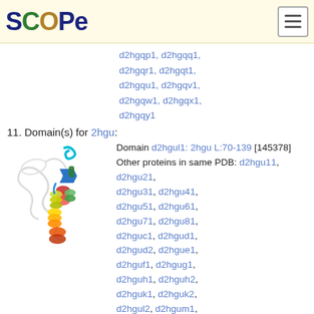SCOPe
d2hgqp1, d2hgqq1, d2hgqr1, d2hgqt1, d2hgqu1, d2hgqv1, d2hgqw1, d2hgqx1, d2hgqy1
11. Domain(s) for 2hgu:
[Figure (photo): Protein structure ribbon diagram for 2hgu, showing colored helices and coils (rainbow coloring from blue to red/orange) with gray background chain]
Domain d2hgul1: 2hgu L:70-139 [145378] Other proteins in same PDB: d2hgu11, d2hgu21, d2hgu31, d2hgu41, d2hgu51, d2hgu61, d2hgu71, d2hgu81, d2hguc1, d2hgud1, d2hgud2, d2hgue1, d2hguf1, d2hgug1, d2hguh1, d2hguh2, d2hguk1, d2hguk2, d2hgul2, d2hgum1, d2hgun1, d2hguo1,